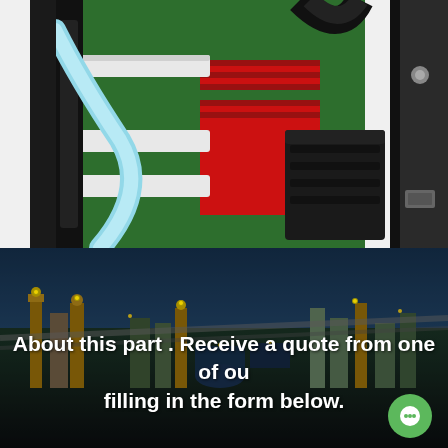[Figure (photo): Close-up of electronic connectors and cables on a green circuit board panel, featuring a light blue cable, white connectors, red circuit board blocks, and a black multi-pin connector block.]
[Figure (photo): Aerial view of an industrial chemical plant or refinery at dusk/night, with tanks, pipes, roads and structures illuminated.]
About this part . Receive a quote from one of ou filling in the form below.